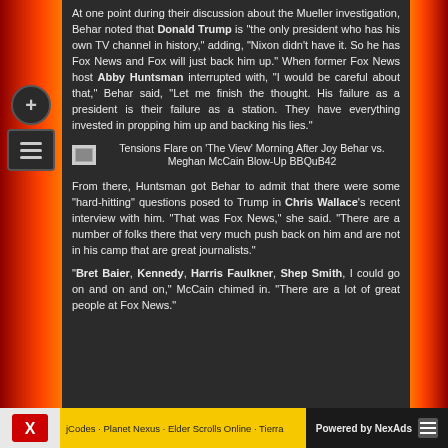At one point during their discussion about the Mueller investigation, Behar noted that Donald Trump is “the only president who has his own TV channel in history,” adding, “Nixon didn’t have it. So he has Fox News and Fox will just back him up.” When former Fox News host Abby Huntsman interrupted with, “I would be careful about that,” Behar said, “Let me finish the thought. His failure as a president is their failure as a station. They have everything invested in propping him up and backing his lies.”
Tensions Flare on ‘The View’ Morning After Joy Behar vs. Meghan McCain Blow-Up BBQuB42
From there, Huntsman got Behar to admit that there were some “hard-hitting” questions posed to Trump in Chris Wallace’s recent interview with him. “That was Fox News,” she said. “There are a number of folks there that very much push back on him and are not in his camp that are great journalists.”
“Bret Baier, Kennedy, Harris Faulkner, Shep Smith, I could go on and on and on,” McCain chimed in. “There are a lot of great people at Fox News.”
jCodes · Planet Nexus · Elder Scrolls Online · Tierra   Powered by NexAds